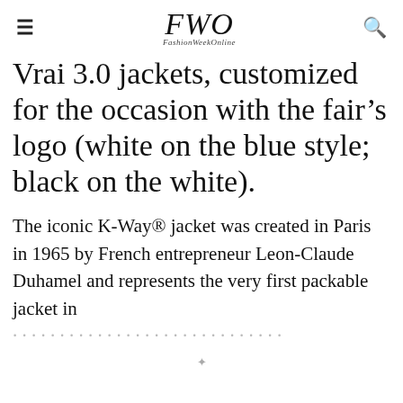FWO FashionWeekOnline
Vrai 3.0 jackets, customized for the occasion with the fair’s logo (white on the blue style; black on the white).
The iconic K-Way® jacket was created in Paris in 1965 by French entrepreneur Leon-Claude Duhamel and represents the very first packable jacket in